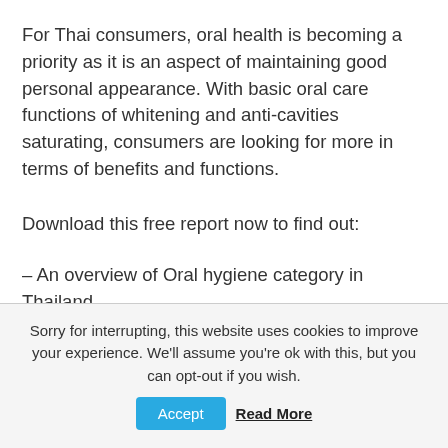For Thai consumers, oral health is becoming a priority as it is an aspect of maintaining good personal appearance. With basic oral care functions of whitening and anti-cavities saturating, consumers are looking for more in terms of benefits and functions.
Download this free report now to find out:
– An overview of Oral hygiene category in Thailand
– Latest consumer sentiments and market trends driving this category
– Where the opportunities lie in this quickly-evolving market
– Insights and recommendations for brands
Sorry for interrupting, this website uses cookies to improve your experience. We'll assume you're ok with this, but you can opt-out if you wish. Accept Read More